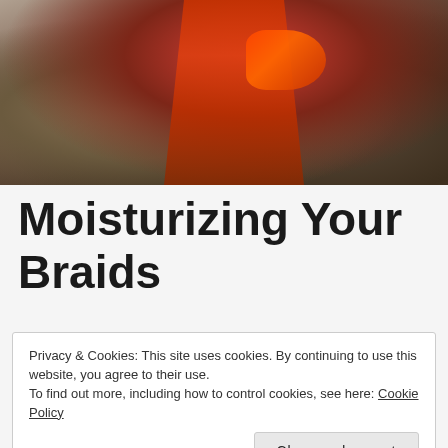[Figure (photo): Photo of a woman with braided hair wearing an orange-red dress, with tattoos visible on her arm, posed outdoors with dried grass/foliage in the background. Her nails are painted bright orange-red.]
Moisturizing Your Braids
Privacy & Cookies: This site uses cookies. By continuing to use this website, you agree to their use.
To find out more, including how to control cookies, see here: Cookie Policy
conditioner and some raw aloe vera juice.